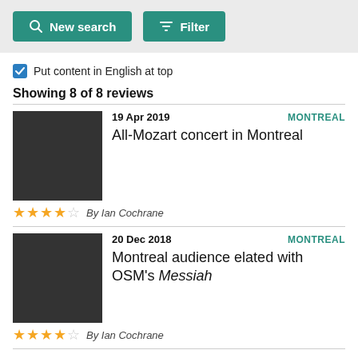[Figure (screenshot): Search bar area with 'New search' and 'Filter' buttons on grey background]
Put content in English at top
Showing 8 of 8 reviews
[Figure (photo): Dark grey thumbnail image for first review]
19 Apr 2019   MONTREAL
All-Mozart concert in Montreal
★★★★☆  By Ian Cochrane
[Figure (photo): Dark grey thumbnail image for second review]
20 Dec 2018   MONTREAL
Montreal audience elated with OSM's Messiah
★★★★☆  By Ian Cochrane
09 Sep 2016   MONTREAL
A sophisticated Carmina Burana in Montréal